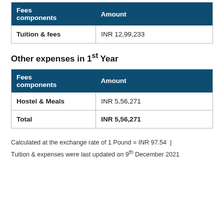| Fees components | Amount |
| --- | --- |
| Tuition & fees | INR 12,99,233 |
Other expenses in 1st Year
| Fees components | Amount |
| --- | --- |
| Hostel & Meals | INR 5,56,271 |
| Total | INR 5,56,271 |
Calculated at the exchange rate of 1 Pound = INR 97.54
Tuition & expenses were last updated on 9th December 2021